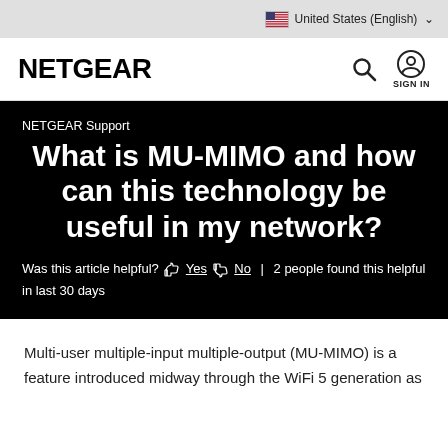United States (English)
[Figure (logo): NETGEAR logo with search and sign-in icons]
NETGEAR Support
What is MU-MIMO and how can this technology be useful in my network?
Was this article helpful? 👍 Yes 👎 No | 2 people found this helpful in last 30 days
Multi-user multiple-input multiple-output (MU-MIMO) is a feature introduced midway through the WiFi 5 generation as